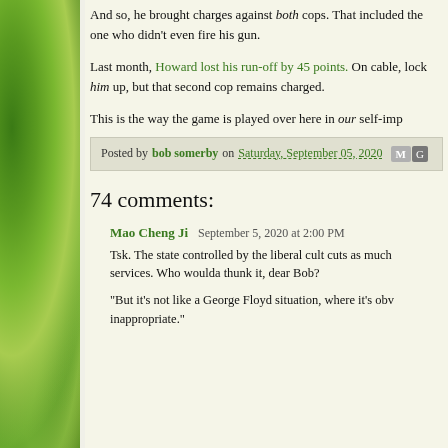And so, he brought charges against both cops. That included the one who didn't even fire his gun.
Last month, Howard lost his run-off by 45 points. On cable, lock him up, but that second cop remains charged.
This is the way the game is played over here in our self-imp
Posted by bob somerby on Saturday, September 05, 2020
74 comments:
Mao Cheng Ji  September 5, 2020 at 2:00 PM
Tsk. The state controlled by the liberal cult cuts as much services. Who woulda thunk it, dear Bob?
"But it's not like a George Floyd situation, where it's obv inappropriate."